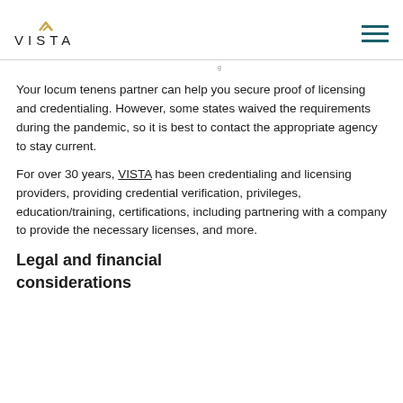VISTA [logo]
Your locum tenens partner can help you secure proof of licensing and credentialing. However, some states waived the requirements during the pandemic, so it is best to contact the appropriate agency to stay current.
For over 30 years, VISTA has been credentialing and licensing providers, providing credential verification, privileges, education/training, certifications, including partnering with a company to provide the necessary licenses, and more.
Legal and financial considerations